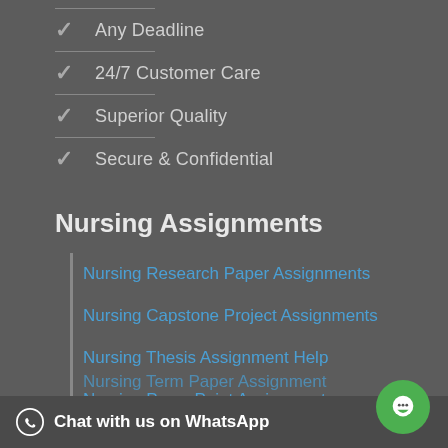Any Deadline
24/7 Customer Care
Superior Quality
Secure & Confidential
Nursing Assignments
Nursing Research Paper Assignments
Nursing Capstone Project Assignments
Nursing Thesis Assignment Help
Nursing PowerPoint Assignment
Nursing Term Paper Assignment
Chat with us on WhatsApp